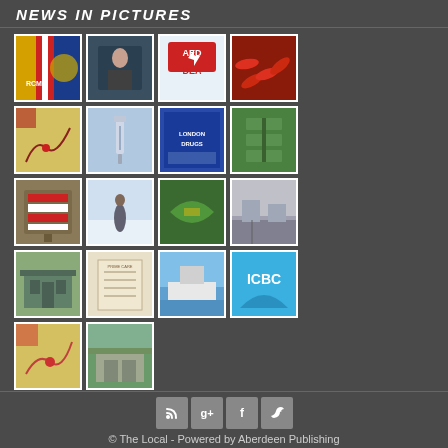NEWS IN PICTURES
[Figure (photo): Grid of 18 news thumbnail photos arranged in 5 rows of 4 columns (last row has only 2). Topics include RCMP logo, person at counter, AED/DEA sign, red peppers, map of BC region, medical needle, London Drugs storefront, green signs outdoor, bulletin board signs, ice rink with skater, aerial green map, street scene, old building, document/certificate, ferry boat, ICBC logo, BC map, building exterior.]
© The Local - Powered by Aberdeen Publishing